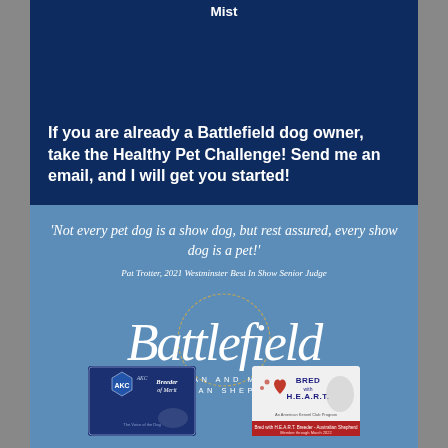Mist
If you are already a Battlefield dog owner, take the Healthy Pet Challenge!  Send me an email, and I will get you started!
'Not every pet dog is a show dog, but rest assured, every show dog is a pet!'
Pat Trotter, 2021 Westminster Best In Show Senior Judge
[Figure (logo): Battlefield Australian and Miniature American Shepherds logo with script lettering and golden circle decoration]
[Figure (other): AKC Breeder of Merit badge]
[Figure (other): Bred with H.E.A.R.T. badge for Australian Shepherd]